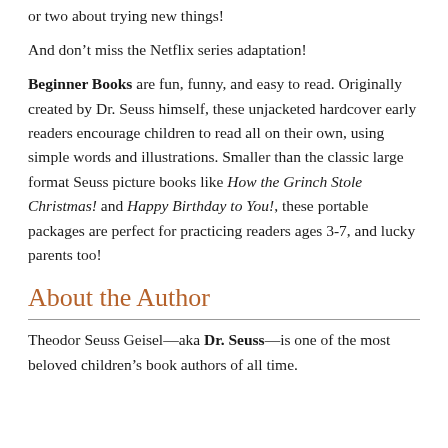or two about trying new things!
And don't miss the Netflix series adaptation!
Beginner Books are fun, funny, and easy to read. Originally created by Dr. Seuss himself, these unjacketed hardcover early readers encourage children to read all on their own, using simple words and illustrations. Smaller than the classic large format Seuss picture books like How the Grinch Stole Christmas! and Happy Birthday to You!, these portable packages are perfect for practicing readers ages 3-7, and lucky parents too!
About the Author
Theodor Seuss Geisel—aka Dr. Seuss—is one of the most beloved children's book authors of all time.